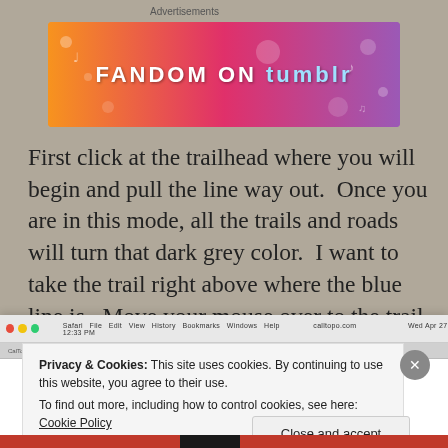Advertisements
[Figure (illustration): Colorful 'FANDOM ON tumblr' advertisement banner with orange-to-purple gradient background and music/doodle decorations]
First click at the trailhead where you will begin and pull the line way out.  Once you are in this mode, all the trails and roads will turn that dark grey color.  I want to take the trail right above where the blue line is.  Move your mouse over to the trail and it should highlight in the same color you chose your line to be, just fainter.
[Figure (screenshot): Screenshot of a macOS Safari browser window showing calltopo.com with a cookie consent dialog overlay. The dialog reads: 'Privacy & Cookies: This site uses cookies. By continuing to use this website, you agree to their use. To find out more, including how to control cookies, see here: Cookie Policy' with a 'Close and accept' button and an X close button.]